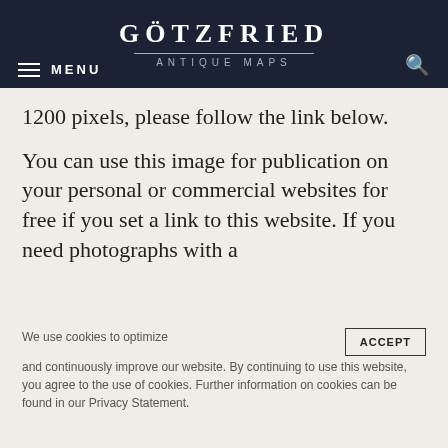GÖTZFRIED ANTIQUE MAPS
1200 pixels, please follow the link below.
You can use this image for publication on your personal or commercial websites for free if you set a link to this website. If you need photographs with a
We use cookies to optimize and continuously improve our website. By continuing to use this website, you agree to the use of cookies. Further information on cookies can be found in our Privacy Statement.
Willem Janszoon Blaeu: Madrid [El Estonia].